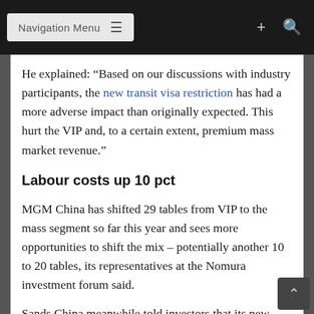Navigation Menu
He explained: “Based on our discussions with industry participants, the new transit visa restriction has had a more adverse impact than originally expected. This hurt the VIP and, to a certain extent, premium mass market revenue.”
Labour costs up 10 pct
MGM China has shifted 29 tables from VIP to the mass segment so far this year and sees more opportunities to shift the mix – potentially another 10 to 20 tables, its representatives at the Nomura investment forum said.
Sands China meanwhile told investors that its new premium mass area at casino resort Sands Cotai Central, called ‘Dragon Palace’,